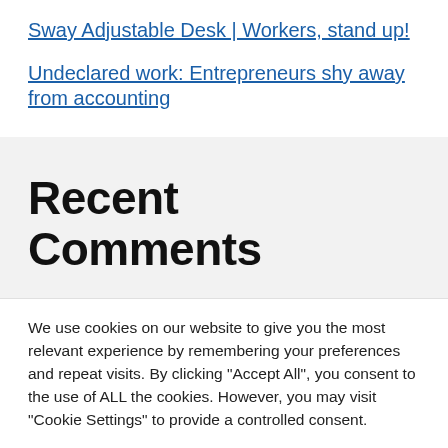Sway Adjustable Desk | Workers, stand up!
Undeclared work: Entrepreneurs shy away from accounting
Recent Comments
We use cookies on our website to give you the most relevant experience by remembering your preferences and repeat visits. By clicking “Accept All”, you consent to the use of ALL the cookies. However, you may visit "Cookie Settings" to provide a controlled consent.
Cookie Settings | Accept All